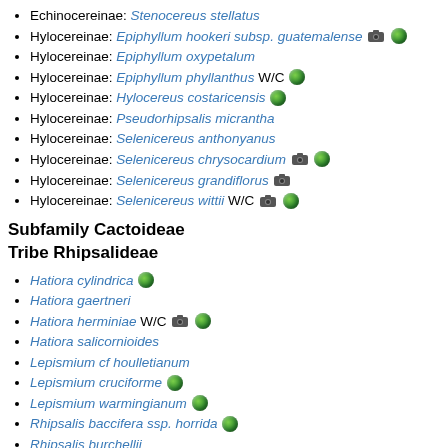Echinocereinae: Stenocereus stellatus
Hylocereinae: Epiphyllum hookeri subsp. guatemalense [camera] [globe]
Hylocereinae: Epiphyllum oxypetalum
Hylocereinae: Epiphyllum phyllanthus W/C [globe]
Hylocereinae: Hylocereus costaricensis [globe]
Hylocereinae: Pseudorhipsalis micrantha
Hylocereinae: Selenicereus anthonyanus
Hylocereinae: Selenicereus chrysocardium [camera] [globe]
Hylocereinae: Selenicereus grandiflorus [camera]
Hylocereinae: Selenicereus wittii W/C [camera] [globe]
Subfamily Cactoideae
Tribe Rhipsalideae
Hatiora cylindrica [globe]
Hatiora gaertneri
Hatiora herminiae W/C [camera] [globe]
Hatiora salicornioides
Lepismium cf houlletianum
Lepismium cruciforme [globe]
Lepismium warmingianum [globe]
Rhipsalis baccifera ssp. horrida [globe]
Rhipsalis burchellii
Rhipsalis...